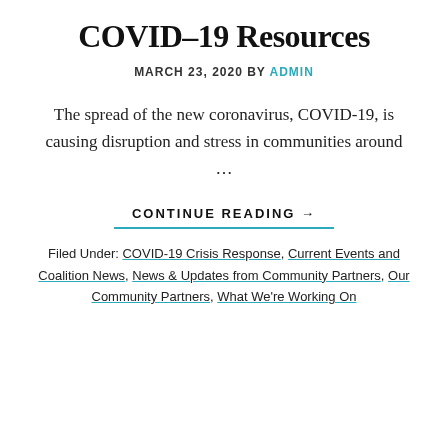COVID-19 Resources
MARCH 23, 2020 by admin
The spread of the new coronavirus, COVID-19, is causing disruption and stress in communities around ...
CONTINUE READING →
Filed Under: COVID-19 Crisis Response, Current Events and Coalition News, News & Updates from Community Partners, Our Community Partners, What We're Working On